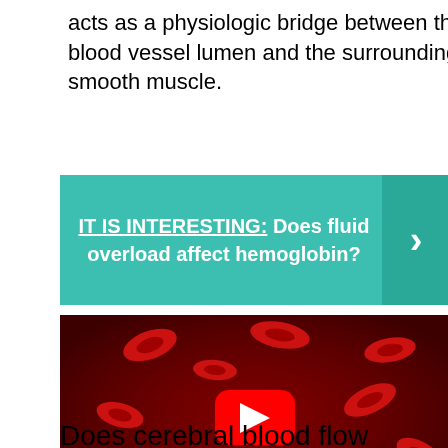acts as a physiologic bridge between the blood vessel lumen and the surrounding smooth muscle.
[Figure (infographic): Teal banner with bold white text reading 'IT IS INTERESTING: Does fluid overload affect hemoglobin?' with a right-arrow button on the right side]
[Figure (screenshot): YouTube video thumbnail showing red blood cells floating in a blood vessel, with a red YouTube play button in the center]
Does cerebral blood flow